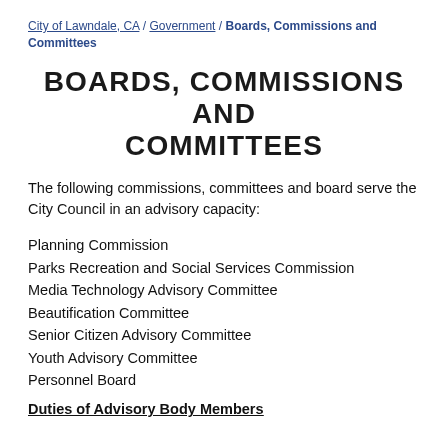City of Lawndale, CA / Government / Boards, Commissions and Committees
BOARDS, COMMISSIONS AND COMMITTEES
The following commissions, committees and board serve the City Council in an advisory capacity:
Planning Commission
Parks Recreation and Social Services Commission
Media Technology Advisory Committee
Beautification Committee
Senior Citizen Advisory Committee
Youth Advisory Committee
Personnel Board
Duties of Advisory Body Members